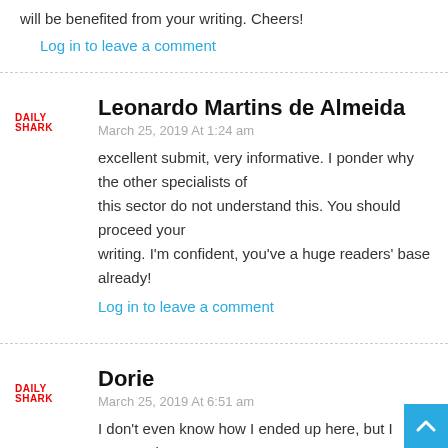will be benefited from your writing. Cheers!
Log in to leave a comment
Leonardo Martins de Almeida
March 25, 2019 At 1:24 am
excellent submit, very informative. I ponder why the other specialists of this sector do not understand this. You should proceed your writing. I'm confident, you've a huge readers' base already!
Log in to leave a comment
Dorie
March 25, 2019 At 6:51 am
I don't even know how I ended up here, but I assumed this publish used to be good. I do not recognize who you might be however definitely